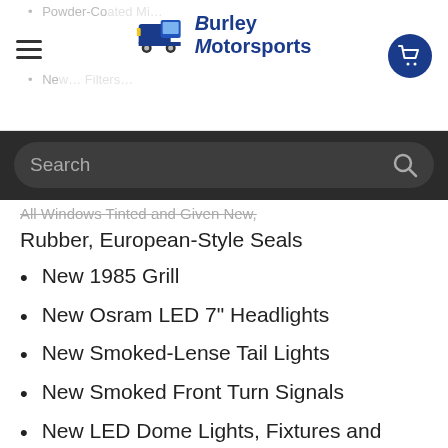Burley Motorsports
Rubber, European-Style Seals
New 1985 Grill
New Osram LED 7" Headlights
New Smoked-Lense Tail Lights
New Smoked Front Turn Signals
New LED Dome Lights, Fixtures and Bulbs
BMS Full-Body Aluminum Skid Plate System